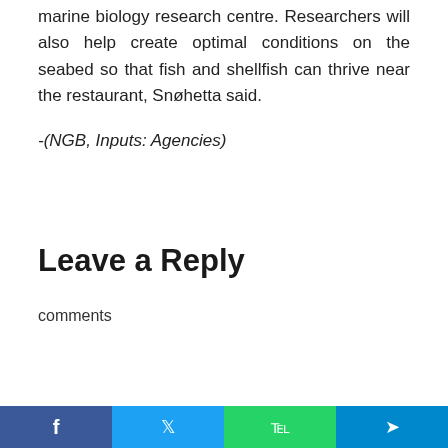marine biology research centre. Researchers will also help create optimal conditions on the seabed so that fish and shellfish can thrive near the restaurant, Snøhetta said.
-(NGB, Inputs: Agencies)
Leave a Reply
comments